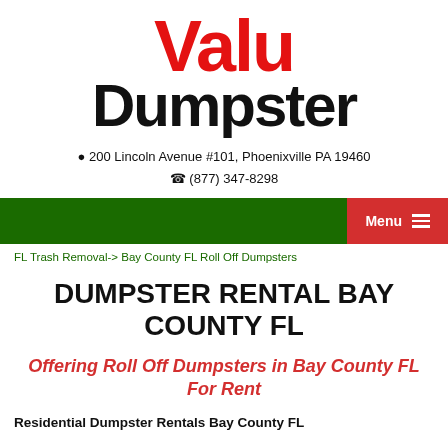[Figure (logo): Valu Dumpster logo with red 'Valu' text and black 'Dumpster' text]
📍 200 Lincoln Avenue #101, Phoenixville PA 19460
📞 (877) 347-8298
[Figure (screenshot): Dark green navigation bar with red Menu button and hamburger icon on right]
FL Trash Removal-> Bay County FL Roll Off Dumpsters
DUMPSTER RENTAL BAY COUNTY FL
Offering Roll Off Dumpsters in Bay County FL For Rent
Residential Dumpster Rentals Bay County FL